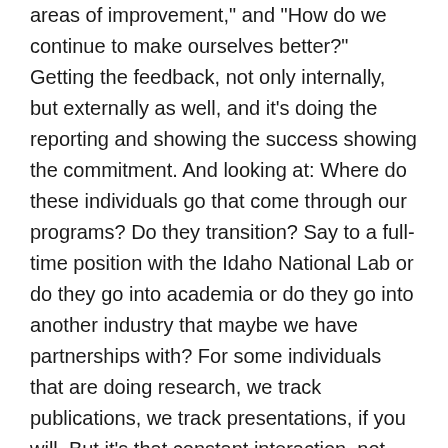areas of improvement," and "How do we continue to make ourselves better?" Getting the feedback, not only internally, but externally as well, and it's doing the reporting and showing the success showing the commitment. And looking at: Where do these individuals go that come through our programs? Do they transition? Say to a full-time position with the Idaho National Lab or do they go into academia or do they go into another industry that maybe we have partnerships with? For some individuals that are doing research, we track publications, we track presentations, if you will. But it's that constant interaction, not only with the individuals, but also with the institutions to be able to show what is this return on investment that shows us why this is important for us to